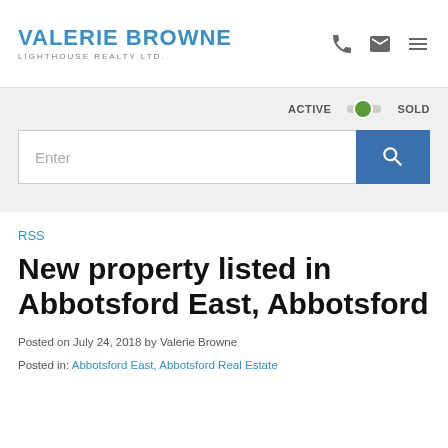VALERIE BROWNE LIGHTHOUSE REALTY LTD.
ACTIVE  SOLD
Enter
RSS
New property listed in Abbotsford East, Abbotsford
Posted on July 24, 2018 by Valerie Browne
Posted in: Abbotsford East, Abbotsford Real Estate